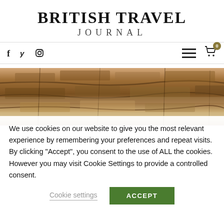BRITISH TRAVEL JOURNAL
[Figure (photo): Close-up photo of layered wooden bark or driftwood texture, brown tones]
We use cookies on our website to give you the most relevant experience by remembering your preferences and repeat visits. By clicking “Accept”, you consent to the use of ALL the cookies. However you may visit Cookie Settings to provide a controlled consent.
Cookie settings
ACCEPT